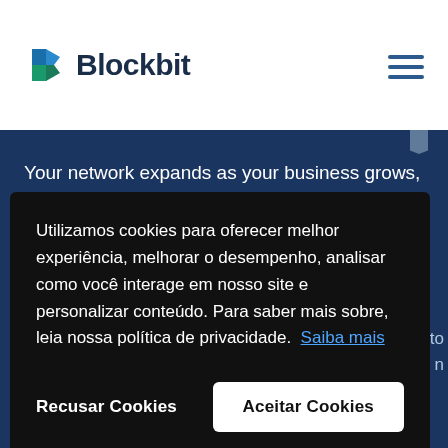[Figure (logo): Blockbit logo with stylized B icon in blue and green]
Your network expands as your business grows, leading to harder demands for your company's security and service quality.
Utilizamos cookies para oferecer melhor experiência, melhorar o desempenho, analisar como você interage em nosso site e personalizar conteúdo. Para saber mais sobre, leia nossa política de privacidade. Saiba mais
Recusar Cookies
Aceitar Cookies
Does your business store and share data digitally? If so,